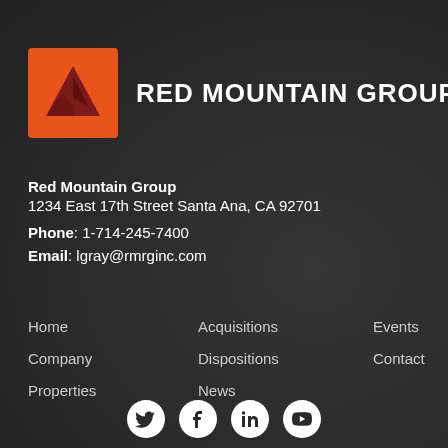[Figure (logo): Red Mountain Group logo: orange square background with dark red mountain/chevron shape]
RED MOUNTAIN GROUP
Red Mountain Group
1234 East 17th Street Santa Ana, CA 92701
Phone: 1-714-245-7400
Email: lgray@rmrginc.com
Home
Acquisitions
Events
Company
Dispositions
Contact
Properties
News
[Figure (illustration): Social media icons row: Twitter, Facebook, LinkedIn, YouTube — white icons on black circles]